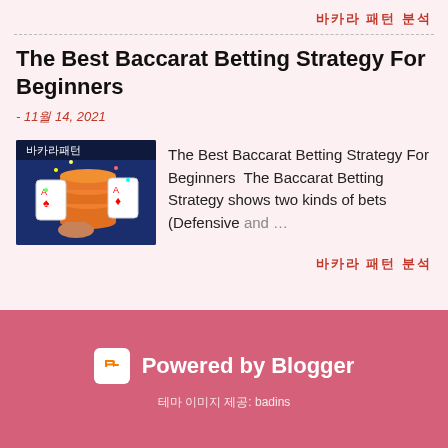바카라 패턴 분석
The Best Baccarat Betting Strategy For Beginners
- 11월 14, 2021
The Best Baccarat Betting Strategy For Beginners  The Baccarat Betting Strategy shows two kinds of bets (Defensive and ...
바카라 패턴 분석
Powered by Blogger
테마 이미지 제공: badins